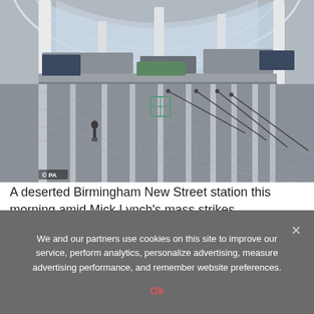[Figure (photo): Interior of Birmingham New Street station, showing a largely deserted concourse with striped patterned floor, closed shops and barriers, and a large glass curved roof. A PA copyright watermark is visible in the lower left corner.]
A deserted Birmingham New Street station this morning amid Mick Lynch’s mass strikes
We and our partners use cookies on this site to improve our service, perform analytics, personalize advertising, measure advertising performance, and remember website preferences.